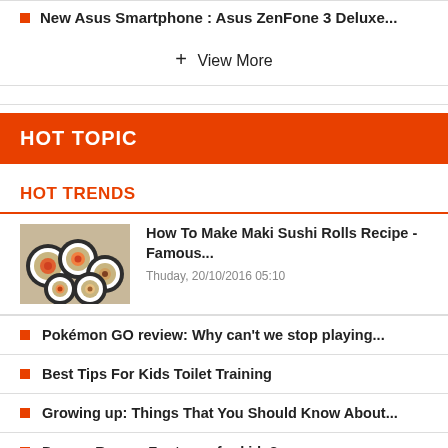New Asus Smartphone : Asus ZenFone 3 Deluxe...
+ View More
HOT TOPIC
HOT TRENDS
[Figure (photo): Photo of maki sushi rolls]
How To Make Maki Sushi Rolls Recipe - Famous...
Thuday, 20/10/2016 05:10
Pokémon GO review: Why can't we stop playing...
Best Tips For Kids Toilet Training
Growing up: Things That You Should Know About...
Do you Repare Footwear for kids?